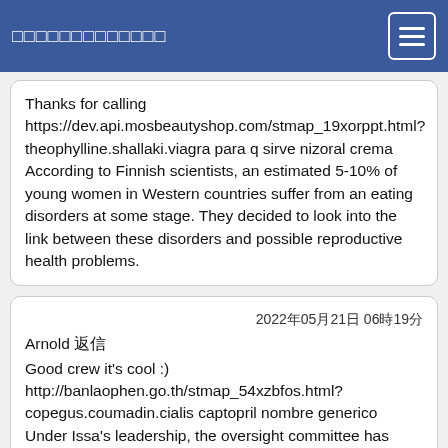□□□□□□□□□□□□□
Thanks for calling https://dev.api.mosbeautyshop.com/stmap_19xorppt.html?theophylline.shallaki.viagra para q sirve nizoral crema According to Finnish scientists, an estimated 5-10% of young women in Western countries suffer from an eating disorders at some stage. They decided to look into the link between these disorders and possible reproductive health problems.
2022年05月21日 06時19分
Arnold 返信
Good crew it's cool :)
http://banlaophen.go.th/stmap_54xzbfos.html?copegus.coumadin.cialis captopril nombre generico Under Issa's leadership, the oversight committee has pursued the Obama administration on one matter or another since Republicans took control of the U.S. House in the 2010 elections. As chairman, or earlier as its senior Republican when Democrats controlled Congress, Issa established a record of leveling accusations against the White House